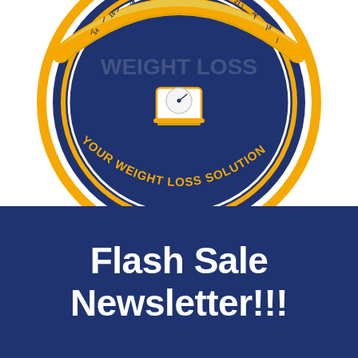[Figure (logo): Circular logo with dark navy blue background, gold/yellow outer ring, measuring tape across the top, a weighing scale in the center, and text 'YOUR WEIGHT LOSS SOLUTION' along the bottom arc in gold lettering. The top of the logo is partially cropped.]
Flash Sale Newsletter!!!